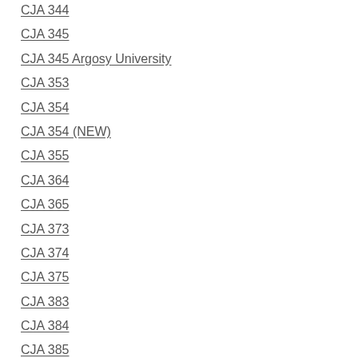CJA 344
CJA 345
CJA 345 Argosy University
CJA 353
CJA 354
CJA 354 (NEW)
CJA 355
CJA 364
CJA 365
CJA 373
CJA 374
CJA 375
CJA 383
CJA 384
CJA 385
CJA 394
CJA 415
CJA 423
CJA 444